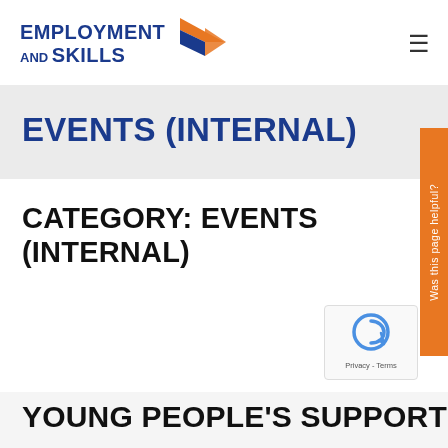[Figure (logo): Employment and Skills logo with orange and dark blue arrow/chevron graphic]
EVENTS (INTERNAL)
CATEGORY: EVENTS (INTERNAL)
YOUNG PEOPLE'S SUPPORT